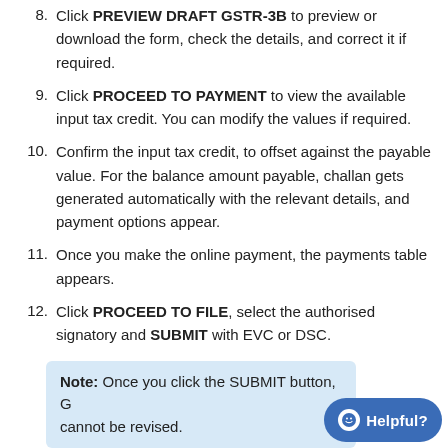8. Click PREVIEW DRAFT GSTR-3B to preview or download the form, check the details, and correct it if required.
9. Click PROCEED TO PAYMENT to view the available input tax credit. You can modify the values if required.
10. Confirm the input tax credit, to offset against the payable value. For the balance amount payable, challan gets generated automatically with the relevant details, and payment options appear.
11. Once you make the online payment, the payments table appears.
12. Click PROCEED TO FILE, select the authorised signatory and SUBMIT with EVC or DSC.
Note: Once you click the SUBMIT button, G cannot be revised.